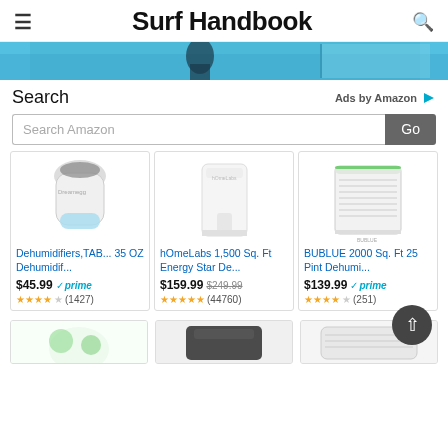Surf Handbook
[Figure (photo): Blue background hero image strip showing a partially visible scene]
Search
Ads by Amazon
Search Amazon  Go
[Figure (photo): Dehumidifier product image - white small unit with blue water tank]
Dehumidifiers,TAB... 35 OZ Dehumidif...
$45.99 prime (1427)
[Figure (photo): hOmeLabs dehumidifier - white tall rectangular unit]
hOmeLabs 1,500 Sq. Ft Energy Star De...
$159.99 $249.99 (44760)
[Figure (photo): BUBLUE dehumidifier - white unit with gray vents and green accent]
BUBLUE 2000 Sq. Ft 25 Pint Dehumi...
$139.99 prime (251)
[Figure (photo): Bottom row of product cards - partial view of three more dehumidifiers]